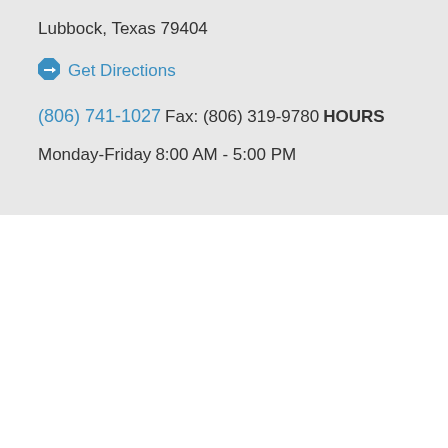Lubbock, Texas 79404
Get Directions
(806) 741-1027
Fax: (806) 319-9780
HOURS
Monday-Friday
8:00 AM - 5:00 PM